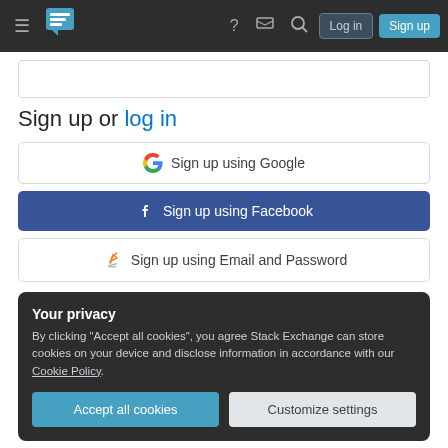Stack Exchange navigation bar with menu, logo, help, inbox, search, Log in, Sign up
Sign up or log in
[Figure (screenshot): Sign up using Google button]
[Figure (screenshot): Sign up using Facebook button]
[Figure (screenshot): Sign up using Email and Password button]
Your privacy
By clicking "Accept all cookies", you agree Stack Exchange can store cookies on your device and disclose information in accordance with our Cookie Policy.
Accept all cookies | Customize settings